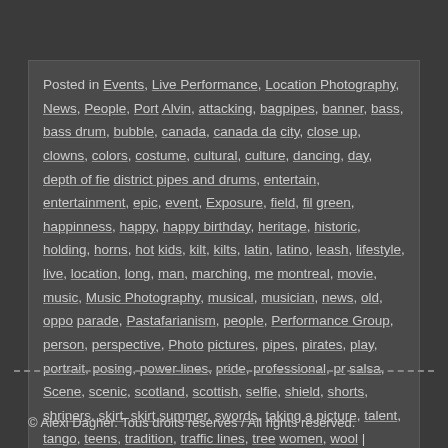Posted in Events, Live Performance, Location Photography, News, People, Portraits, Alvin, attacking, bagpipes, banner, bass, bass drum, bubble, canada, canada day, city, close up, clowns, colors, costume, cultural, culture, dancing, day, depth of field, district pipes and drums, entertain, entertainment, epic, event, Exposure, field, film, green, happinness, happy, happy birthday, heritage, historic, holding, horns, hot, kids, kilt, kilts, latin, latino, leash, lifestyle, live, location, long, man, marching, me, montreal, movie, music, Music Photography, musical, musician, news, old, opportunity, parade, Pastafarianism, people, Performance Group, person, perspective, Photography, pictures, pipes, pirates, play, portrait, posing, power lines, pride, professional, proud, salsa, Scene, scenic, scotland, scottish, selfie, shield, shorts, shriners, skirt, skirts, summer, swords, taking a picture, talent, tango, teens, tradition, traffic lines, tree, women, wool |
© Alexi Dagher. Tous droits réservés / All rights reserved.